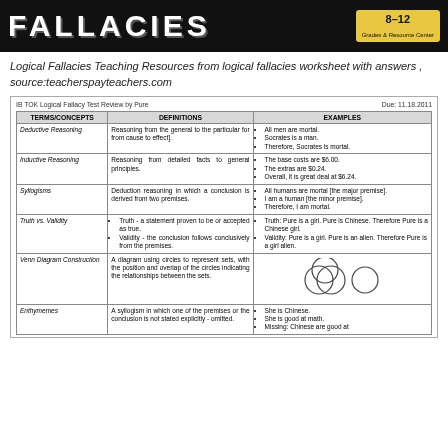[Figure (illustration): Dark banner with FALLACIES title and 8-12 grade badge]
Logical Fallacies Teaching Resources from logical fallacies worksheet with answers , source:teacherspayteachers.com
IB TOK Logical Fallacy Test Review by Pure    Due: 11.18.2011
| TERMS/CONCEPTS | DEFINITIONS | EXAMPLES |
| --- | --- | --- |
| Deductive Reasoning | Reasoning from the general to the particular for from cause to effect]. | All men are mortal. Socrates is a man. Therefore, Socrates is mortal. |
| Inductive Reasoning | Reasoning from detailed facts to general principles. | The base costs are $6.00. The extras are $0.24. Overall, it is great deal at $6.24. |
| Syllogisms | Deduction reasoning in which a conclusion is derived from two premises. | All humans are mortal [the major premise]. I am a human [the minor premise]. Therefore, I am mortal. |
| Truth vs. Validity | Truth - a statement proven to be or accepted as true. Validity - the conclusion follows conclusively from the premises. | Truth: Pure is a girl. Pure is Chinese. Therefore Pure is a Chinese girl. Validity: Pure is a girl. Pure is an alien. Therefore Pure is a girl alien. |
| Venn Diagram Construction | A diagram using circles to represent sets, with the position and overlap of the circles indicating the relationships between the sets. | [Venn diagram illustration] |
| Enthymemes | A syllogism in which one of the premises or the conclusion is not stated explicitly - omitted. | She is Chinese. She is good at math. Missing: Chinese are good at |